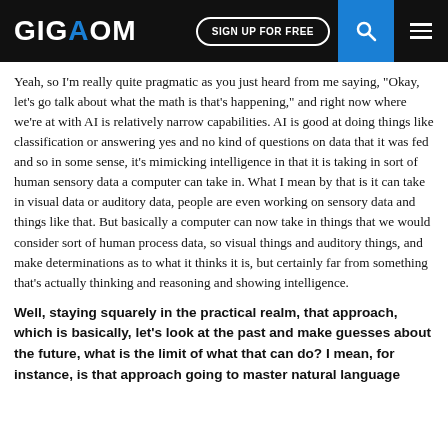GIGAOM | SIGN UP FOR FREE
Yeah, so I'm really quite pragmatic as you just heard from me saying, “Okay, let’s go talk about what the math is that’s happening,” and right now where we’re at with AI is relatively narrow capabilities. AI is good at doing things like classification or answering yes and no kind of questions on data that it was fed and so in some sense, it’s mimicking intelligence in that it is taking in sort of human sensory data a computer can take in. What I mean by that is it can take in visual data or auditory data, people are even working on sensory data and things like that. But basically a computer can now take in things that we would consider sort of human process data, so visual things and auditory things, and make determinations as to what it thinks it is, but certainly far from something that’s actually thinking and reasoning and showing intelligence.
Well, staying squarely in the practical realm, that approach, which is basically, let’s look at the past and make guesses about the future, what is the limit of what that can do? I mean, for instance, is that approach going to master natural language